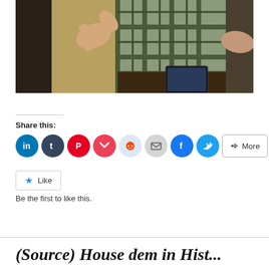[Figure (photo): Photo of a person in a plaid shirt with hands gesturing, partially cropped]
Share this:
[Figure (infographic): Social sharing buttons: LinkedIn, Tumblr, Pinterest, Pocket, Reddit, Email, Facebook, Twitter, More]
Like
Be the first to like this.
(Source) House dem in Hist...